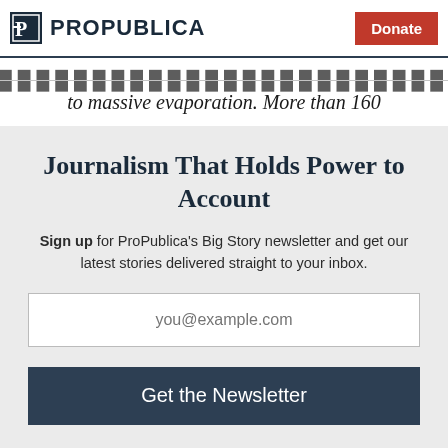ProPublica — Donate
to massive evaporation. More than 160
Journalism That Holds Power to Account
Sign up for ProPublica's Big Story newsletter and get our latest stories delivered straight to your inbox.
you@example.com
Get the Newsletter
No thanks, I'm all set
This site is protected by reCAPTCHA and the Google Privacy Policy and Terms of Service apply.